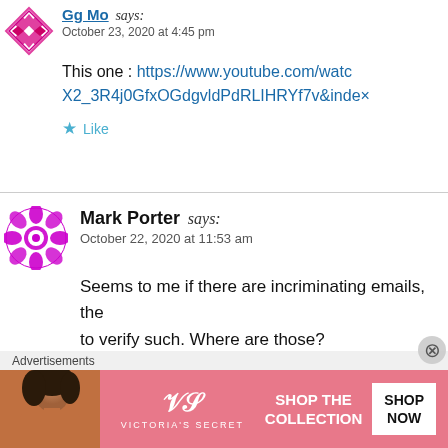Gg Mo says: October 23, 2020 at 4:45 pm
This one : https://www.youtube.com/watc... X2_3R4j0GfxOGdgvldPdRLIHRYf7v&index...
Like
Mark Porter says: October 22, 2020 at 11:53 am
Seems to me if there are incriminating emails, the... to verify such. Where are those?
Like
[Figure (advertisement): Victoria's Secret advertisement banner with model photo, VS logo, 'SHOP THE COLLECTION' text, and 'SHOP NOW' button]